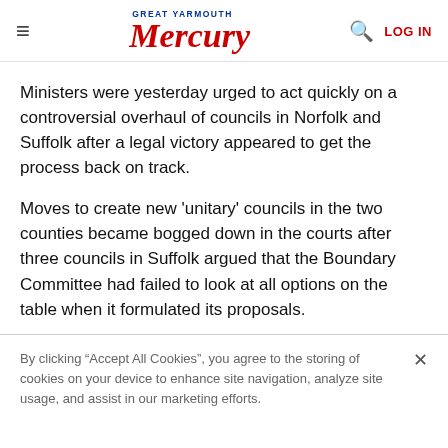Great Yarmouth Mercury — LOG IN
Ministers were yesterday urged to act quickly on a controversial overhaul of councils in Norfolk and Suffolk after a legal victory appeared to get the process back on track.
Moves to create new 'unitary' councils in the two counties became bogged down in the courts after three councils in Suffolk argued that the Boundary Committee had failed to look at all options on the table when it formulated its proposals.
By clicking "Accept All Cookies", you agree to the storing of cookies on your device to enhance site navigation, analyze site usage, and assist in our marketing efforts.